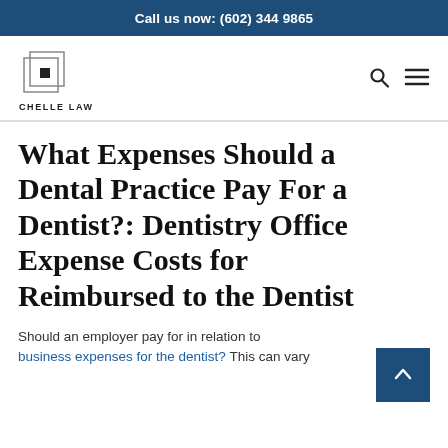Call us now: (602) 344 9865
[Figure (logo): Chelle Law logo: overlapping square frames with a small black square inside, above text CHELLE LAW]
What Expenses Should a Dental Practice Pay For a Dentist?: Dentistry Office Expense Costs for Reimbursed to the Dentist
Should an employer pay for in relation to business expenses for the dentist? This can vary